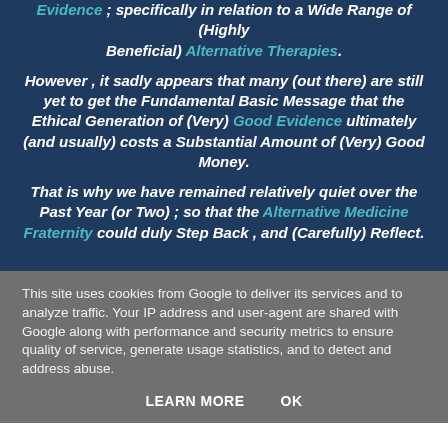Evidence ; specifically in relation to a Wide Range of (Highly Beneficial) Alternative Therapies.
However , it sadly appears that many (out there) are still yet to get the Fundamental Basic Message that the Ethical Generation of (Very) Good Evidence ultimately (and usually) costs a Substantial Amount of (Very) Good Money.
That is why we have remained relatively quiet over the Past Year (or Two) ; so that the Alternative Medicine Fraternity could duly Step Back , and (Carefully) Reflect.
This site uses cookies from Google to deliver its services and to analyze traffic. Your IP address and user-agent are shared with Google along with performance and security metrics to ensure quality of service, generate usage statistics, and to detect and address abuse.
LEARN MORE   OK